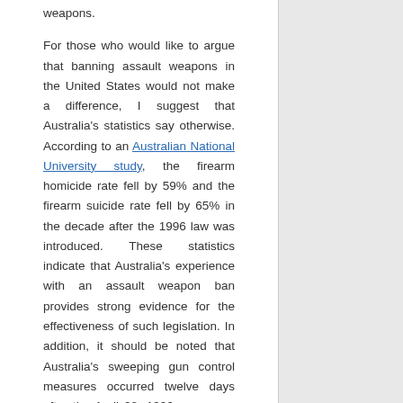weapons.

For those who would like to argue that banning assault weapons in the United States would not make a difference, I suggest that Australia's statistics say otherwise. According to an Australian National University study, the firearm homicide rate fell by 59% and the firearm suicide rate fell by 65% in the decade after the 1996 law was introduced. These statistics indicate that Australia's experience with an assault weapon ban provides strong evidence for the effectiveness of such legislation. In addition, it should be noted that Australia's sweeping gun control measures occurred twelve days after the April 28, 1996 massacre, the